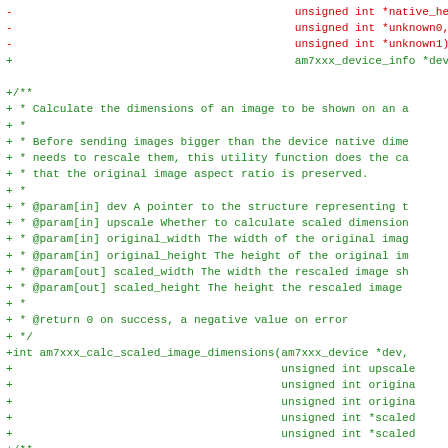Code diff showing removed (red) and added (green) lines for am7xxx library C header file, including function signatures and doxygen comments for am7xxx_calc_scaled_image_dimensions and am7xxx_send_image functions.